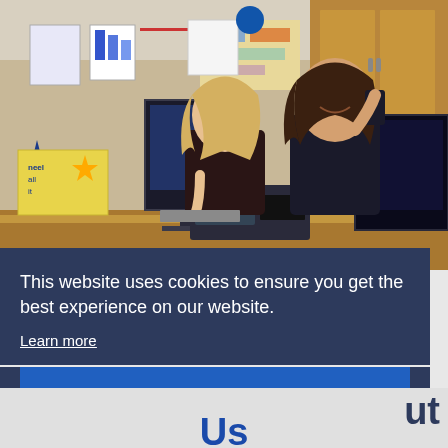[Figure (photo): Reception area photo showing two women at a desk with computers. One woman has blonde hair and is using a keyboard, the other has dark hair and is talking on a phone. There is a blue triangular display, a yellow box, wooden cabinets, and various office items in the background.]
This website uses cookies to ensure you get the best experience on our website.
Learn more
Got it!
ut
Us